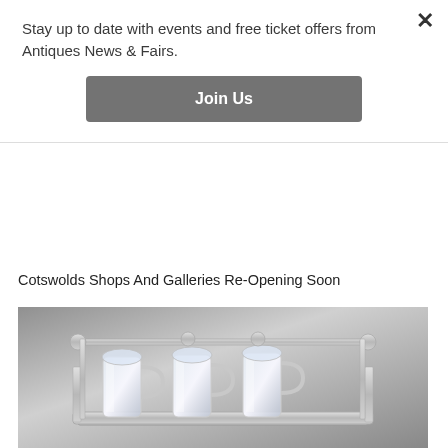Stay up to date with events and free ticket offers from Antiques News & Fairs.
Join Us
[Figure (photo): Partial view of a red wax seal reading ASSOCIATION]
Cotswolds Shops And Galleries Re-Opening Soon
[Figure (photo): Photograph of antique silver cruet set with glass bottles on a rectangular silver tray, against a grey gradient background]